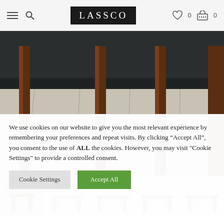LASSCO — navigation bar with hamburger menu, search, logo, wishlist (0), cart (0)
[Figure (photo): Close-up photo of dark wood furniture legs (chair or table) standing on pale whitewashed wooden floorboards, with a dark painted baseboard visible behind]
[Figure (photo): Thumbnail strip showing five small preview images of antique wooden furniture items (tables/stools) against light backgrounds]
We use cookies on our website to give you the most relevant experience by remembering your preferences and repeat visits. By clicking "Accept All", you consent to the use of ALL the cookies. However, you may visit "Cookie Settings" to provide a controlled consent.
Cookie Settings | Accept All